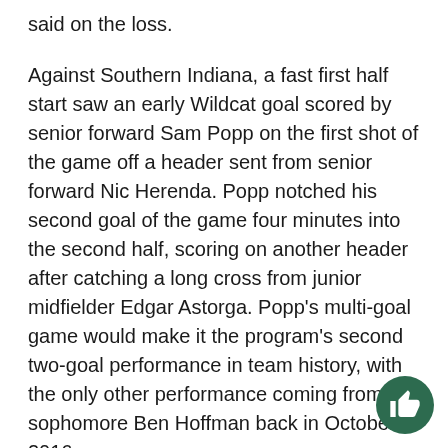said on the loss.
Against Southern Indiana, a fast first half start saw an early Wildcat goal scored by senior forward Sam Popp on the first shot of the game off a header sent from senior forward Nic Herenda. Popp notched his second goal of the game four minutes into the second half, scoring on another header after catching a long cross from junior midfielder Edgar Astorga. Popp’s multi-goal game would make it the program’s second two-goal performance in team history, with the only other performance coming from sophomore Ben Hoffman back in October 2016.
Freshman Patrick Restum’s seven saves against the Screaming Eagles helped the Wildcats earn their first shutout victory of the season, bringing NMU to a 1-1 record to start the season.
“It’s a start for...